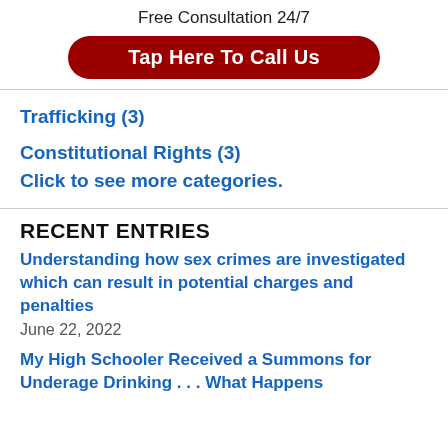Free Consultation 24/7
Tap Here To Call Us
Trafficking (3)
Constitutional Rights (3)
Click to see more categories.
RECENT ENTRIES
Understanding how sex crimes are investigated which can result in potential charges and penalties
June 22, 2022
My High Schooler Received a Summons for Underage Drinking . . . What Happens